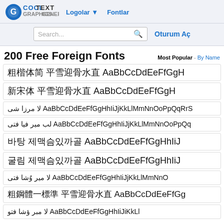CoolText Graphics Generator — Logolar ▼ | Fontlar
Search...  Oturum Aç
200 Free Foreign Fonts
Most Popular - By Name
粗楷体简 平雪迎骨水直 AaBbCcDdEeFfGgH
新宋体 平雪迎骨水直 AaBbCcDdEeFfGgH
ﻻ ﻣﺮﺯﺍ ﺷﻲ AaBbCcDdEeFfGgHhIiJjKkLlMmNnOoPpQqRrS
ﻟﺒ ﻣﯿﺮ ﻓﺘﺎ ﻓﺘﯽ AaBbCcDdEeFfGgHhIiJjKkLlMmNnOoPpQq
바탕 제맥슴있까골 AaBbCcDdEeFfGgHhIiJ
굴림 제맥슴있까골 AaBbCcDdEeFfGgHhIiJ
لا میر وُشا فتی AaBbCcDdEeFfGgHhIiJjKkLlMmNnO
粗鋼體一標準 平雪迎骨水直 AaBbCcDdEeFfGg
لا مبر ؤشا فتو AaBbCcDdEeFfGgHhIiJiKkLl